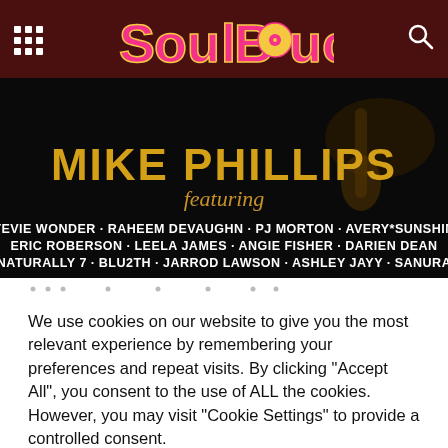SoulBounce
[Figure (photo): Mike Phillips album promotional image on black background featuring artist name in gold letters and list of featured artists: Stevie Wonder, Raheem DeVaughn, PJ Morton, Avery*Sunshine, Eric Roberson, Leela James, Angie Fisher, Darien Dean, Naturally 7, Blu2th, Jarrod Lawson, Ashley Jayy, Sanura]
We use cookies on our website to give you the most relevant experience by remembering your preferences and repeat visits. By clicking "Accept All", you consent to the use of ALL the cookies. However, you may visit "Cookie Settings" to provide a controlled consent.